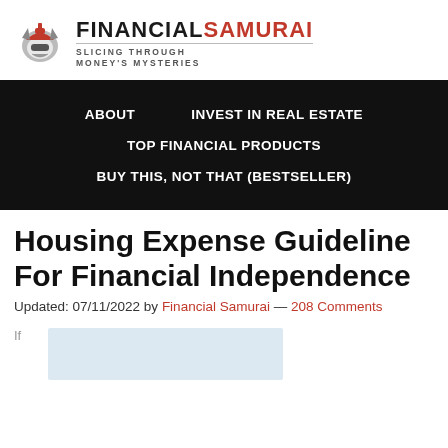[Figure (logo): Financial Samurai logo with samurai helmet icon, bold FINANCIAL SAMURAI text with SAMURAI in red, and tagline SLICING THROUGH MONEY'S MYSTERIES]
ABOUT    INVEST IN REAL ESTATE
TOP FINANCIAL PRODUCTS
BUY THIS, NOT THAT (BESTSELLER)
Housing Expense Guideline For Financial Independence
Updated: 07/11/2022 by Financial Samurai — 208 Comments